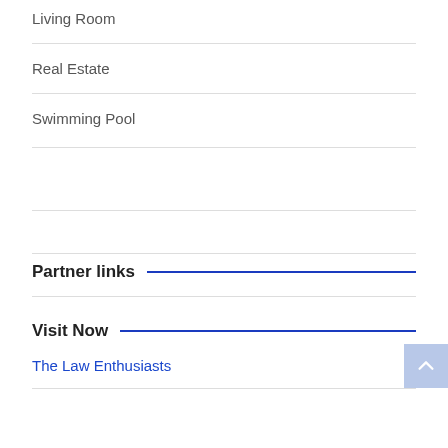Living Room
Real Estate
Swimming Pool
Partner links
Visit Now
The Law Enthusiasts